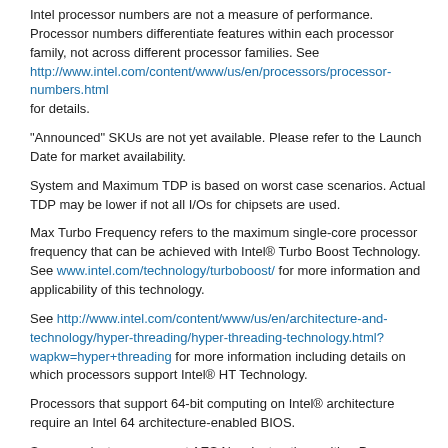Intel processor numbers are not a measure of performance. Processor numbers differentiate features within each processor family, not across different processor families. See http://www.intel.com/content/www/us/en/processors/processor-numbers.html for details.
"Announced" SKUs are not yet available. Please refer to the Launch Date for market availability.
System and Maximum TDP is based on worst case scenarios. Actual TDP may be lower if not all I/Os for chipsets are used.
Max Turbo Frequency refers to the maximum single-core processor frequency that can be achieved with Intel® Turbo Boost Technology. See www.intel.com/technology/turboboost/ for more information and applicability of this technology.
See http://www.intel.com/content/www/us/en/architecture-and-technology/hyper-threading/hyper-threading-technology.html?wapkw=hyper+threading for more information including details on which processors support Intel® HT Technology.
Processors that support 64-bit computing on Intel® architecture require an Intel 64 architecture-enabled BIOS.
Some products can support AES New Instructions with a Processor Configuration update, in particular, i7-2630QM/i7-2635QM, i7-2670QM/i7-2675QM, i5-2430M/i5-2435M, i5-2410M/i5-2415M. Please contact OEM for the BIOS that includes the latest Processor configuration update.
Retail prices reported as of 24 Aug 2022 08:39:52 GMT